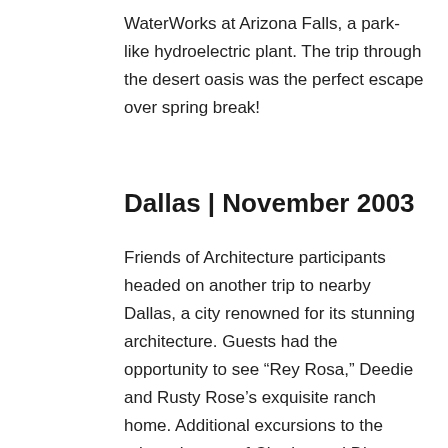WaterWorks at Arizona Falls, a park-like hydroelectric plant. The trip through the desert oasis was the perfect escape over spring break!
Dallas | November 2003
Friends of Architecture participants headed on another trip to nearby Dallas, a city renowned for its stunning architecture. Guests had the opportunity to see “Rey Rosa,” Deedie and Rusty Rose’s exquisite ranch home. Additional excursions to the private homes of Charles and Diane Cheatham and Stephen and Emily Summers were also part of our trip. Additionally, Dr. Dorothy Kosinski,